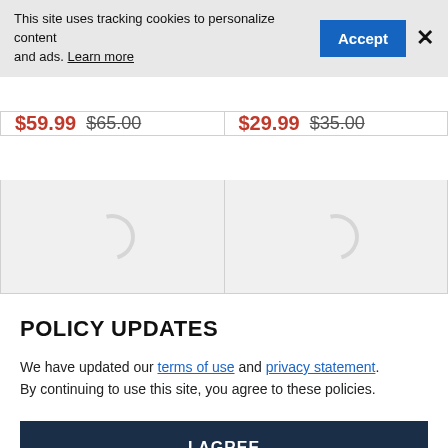This site uses tracking cookies to personalize content and ads. Learn more
$59.99 $65.00
$29.99 $35.00
[Figure (illustration): Loading spinner placeholder for product image, left]
[Figure (illustration): Loading spinner placeholder for product image, right]
POLICY UPDATES
We have updated our terms of use and privacy statement. By continuing to use this site, you agree to these policies.
I AGREE